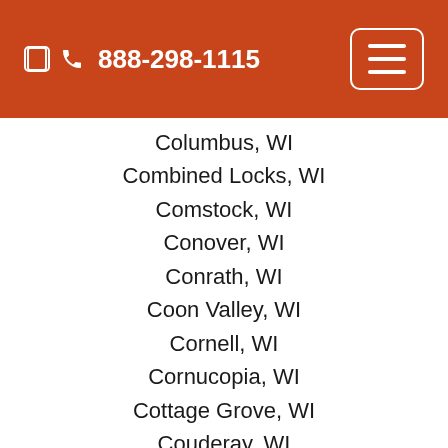888-298-1115
Columbus, WI
Combined Locks, WI
Comstock, WI
Conover, WI
Conrath, WI
Coon Valley, WI
Cornell, WI
Cornucopia, WI
Cottage Grove, WI
Couderay, WI
Crandon, WI
Crivitz, WI
Cross Plains, WI
Cuba City, WI
Cudahy, WI
Cumberland, WI
Curtiss, WI
Cushing, WI
[Figure (illustration): Blue circle with white telephone handset icon, a call button widget]